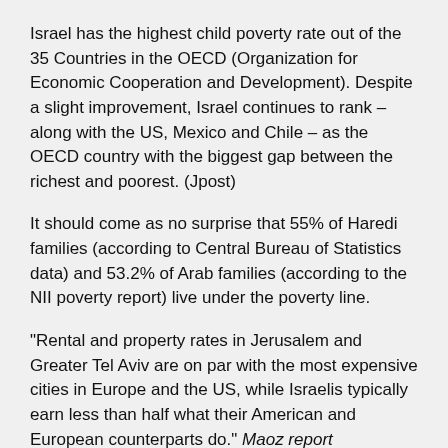Israel has the highest child poverty rate out of the 35 Countries in the OECD (Organization for Economic Cooperation and Development). Despite a slight improvement, Israel continues to rank – along with the US, Mexico and Chile – as the OECD country with the biggest gap between the richest and poorest. (Jpost)
It should come as no surprise that 55% of Haredi families (according to Central Bureau of Statistics data) and 53.2% of Arab families (according to the NII poverty report) live under the poverty line.
"Rental and property rates in Jerusalem and Greater Tel Aviv are on par with the most expensive cities in Europe and the US, while Israelis typically earn less than half what their American and European counterparts do." Maoz report